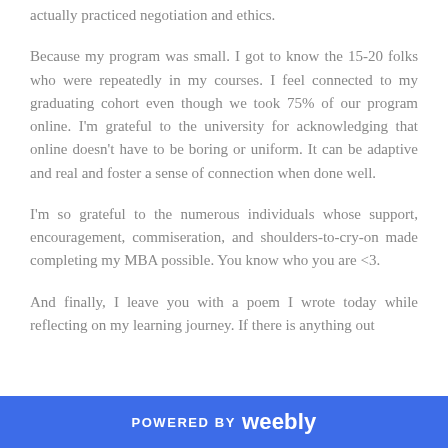actually practiced negotiation and ethics.
Because my program was small. I got to know the 15-20 folks who were repeatedly in my courses. I feel connected to my graduating cohort even though we took 75% of our program online. I'm grateful to the university for acknowledging that online doesn't have to be boring or uniform. It can be adaptive and real and foster a sense of connection when done well.
I'm so grateful to the numerous individuals whose support, encouragement, commiseration, and shoulders-to-cry-on made completing my MBA possible. You know who you are <3.
And finally, I leave you with a poem I wrote today while reflecting on my learning journey. If there is anything out
POWERED BY weebly